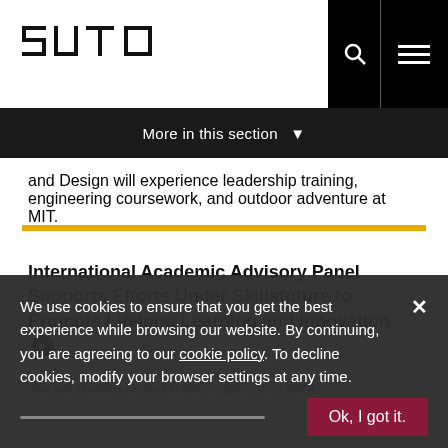[Figure (logo): SUTD logo - geometric pixelated letters in black on white background]
More in this section ▾
and Design will experience leadership training, engineering coursework, and outdoor adventure at MIT.
International Academic Advisory Panel Supports Efforts Under Skillsfuture to Promote Lifelong Learning and Innovation
26 Jun 2015
The 4th Meeting of the Ministry of Education (MOE)
We use cookies to ensure that you get the best experience while browsing our website. By continuing, you are agreeing to our cookie policy. To decline cookies, modify your browser settings at any time.
Ok, I got it.